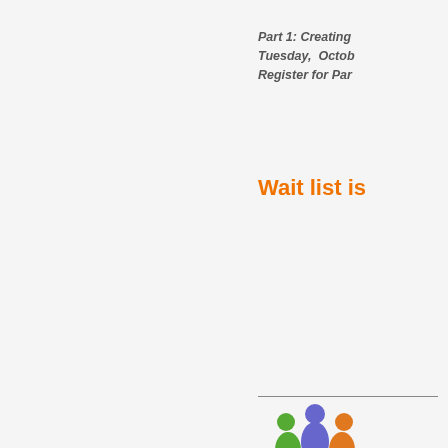Part 1: Creating
Tuesday,  Octob
Register for Par
Wait list is
[Figure (logo): Colorful group of three stylized people figures in green, blue/purple, and orange, arranged in a circular/heart shape — community or collaboration logo]